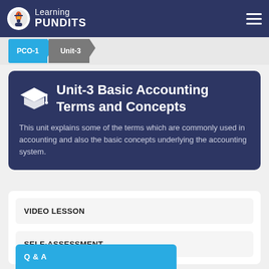Learning PUNDITS
PCO-1  Unit-3
Unit-3 Basic Accounting Terms and Concepts
This unit explains some of the terms which are commonly used in accounting and also the basic concepts underlying the accounting system.
VIDEO LESSON
SELF-ASSESSMENT
Q & A